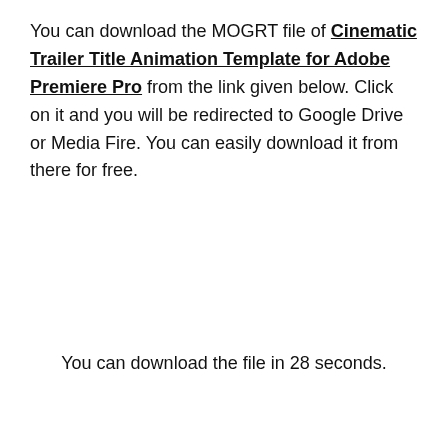You can download the MOGRT file of Cinematic Trailer Title Animation Template for Adobe Premiere Pro from the link given below. Click on it and you will be redirected to Google Drive or Media Fire. You can easily download it from there for free.
You can download the file in 28 seconds.